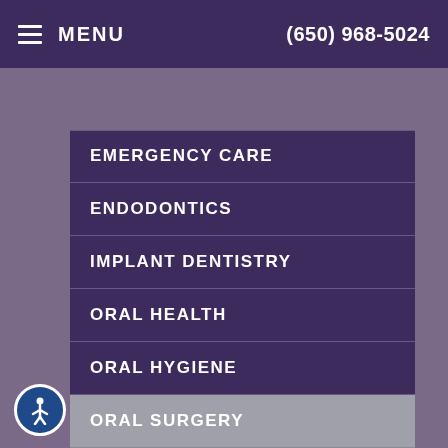MENU  (650) 968-5024
EMERGENCY CARE
ENDODONTICS
IMPLANT DENTISTRY
ORAL HEALTH
ORAL HYGIENE
ORAL SURGERY
ORTHODONTICS
PEDIATRIC DENTISTRY
PERIODONTAL THERAPY